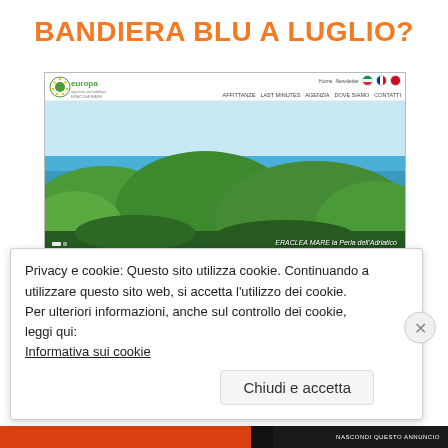BANDIERA BLU A LUGLIO?
[Figure (screenshot): Screenshot of Europa Agenzia Immobiliare Eraclea Mare website showing a hero image of green hills and sea with the caption 'ERACLEA MARE la Perla dell'Adriatico', navigation bar with links AFFITTANZE, LAST MINUTES, AGENZIA, DOVE SIAMO, CONTATTI, and bottom thumbnails for LAST MINUTES, AFFITTANZE, CALENDARIO MANIFESTAZIONI, and Promozione Vacanze.]
Privacy e cookie: Questo sito utilizza cookie. Continuando a utilizzare questo sito web, si accetta l'utilizzo dei cookie.
Per ulteriori informazioni, anche sul controllo dei cookie, leggi qui:
Informativa sui cookie
Chiudi e accetta